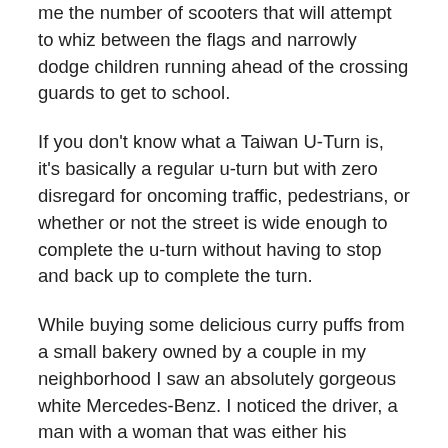me the number of scooters that will attempt to whiz between the flags and narrowly dodge children running ahead of the crossing guards to get to school.
If you don't know what a Taiwan U-Turn is, it's basically a regular u-turn but with zero disregard for oncoming traffic, pedestrians, or whether or not the street is wide enough to complete the u-turn without having to stop and back up to complete the turn.
While buying some delicious curry puffs from a small bakery owned by a couple in my neighborhood I saw an absolutely gorgeous white Mercedes-Benz. I noticed the driver, a man with a woman that was either his daughter or much younger wife. They had a look on their face like they were lost. I began my journey towards my apartment and the intersection I introduced in the second paragraph of